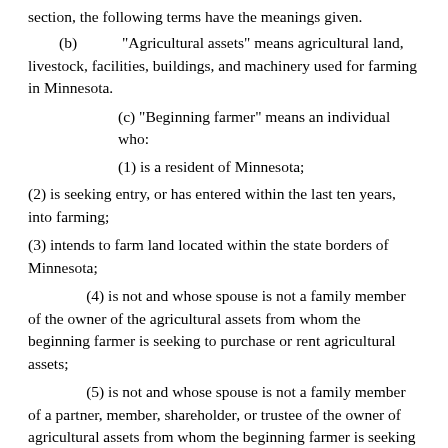section, the following terms have the meanings given.
(b) "Agricultural assets" means agricultural land, livestock, facilities, buildings, and machinery used for farming in Minnesota.
(c) "Beginning farmer" means an individual who:
(1) is a resident of Minnesota;
(2) is seeking entry, or has entered within the last ten years, into farming;
(3) intends to farm land located within the state borders of Minnesota;
(4) is not and whose spouse is not a family member of the owner of the agricultural assets from whom the beginning farmer is seeking to purchase or rent agricultural assets;
(5) is not and whose spouse is not a family member of a partner, member, shareholder, or trustee of the owner of agricultural assets from whom the beginning farmer is seeking to purchase or rent agricultural assets; and
(6) meets the following eligibility requirements as determined by the authority...